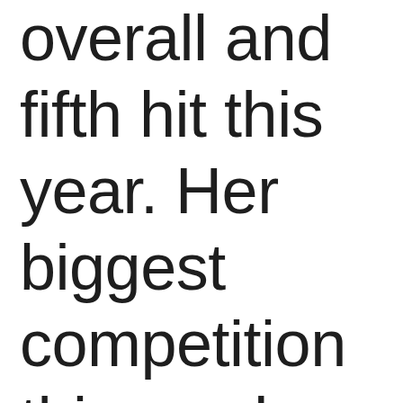overall and fifth hit this year. Her biggest competition this week